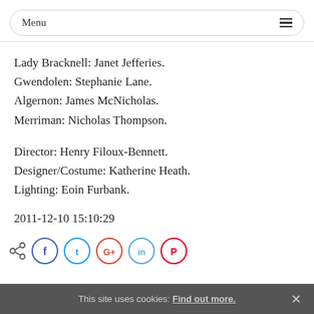Menu
Lady Bracknell: Janet Jefferies.
Gwendolen: Stephanie Lane.
Algernon: James McNicholas.
Merriman: Nicholas Thompson.
Director: Henry Filoux-Bennett.
Designer/Costume: Katherine Heath.
Lighting: Eoin Furbank.
2011-12-10 15:10:29
This site uses cookies: Find out more.